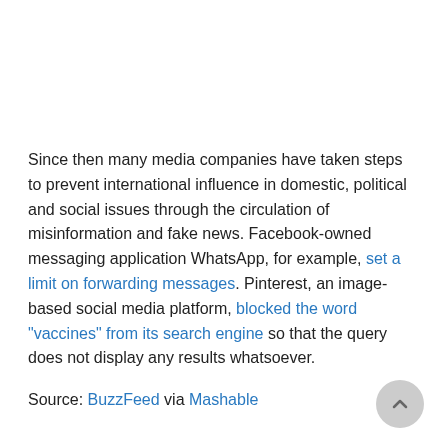Since then many media companies have taken steps to prevent international influence in domestic, political and social issues through the circulation of misinformation and fake news. Facebook-owned messaging application WhatsApp, for example, set a limit on forwarding messages. Pinterest, an image-based social media platform, blocked the word "vaccines" from its search engine so that the query does not display any results whatsoever.
Source: BuzzFeed via Mashable